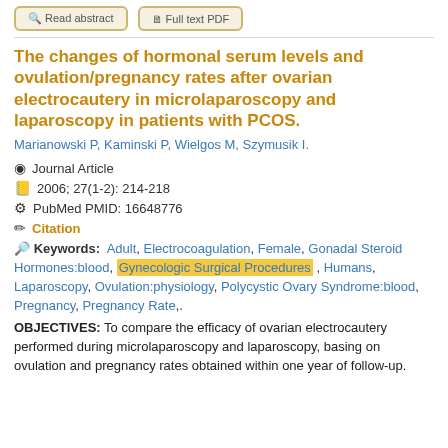The changes of hormonal serum levels and ovulation/pregnancy rates after ovarian electrocautery in microlaparoscopy and laparoscopy in patients with PCOS.
Marianowski P, Kaminski P, Wielgos M, Szymusik I.
Journal Article
2006; 27(1-2): 214-218
PubMed PMID: 16648776
Citation
Keywords: Adult, Electrocoagulation, Female, Gonadal Steroid Hormones:blood, Gynecologic Surgical Procedures, Humans, Laparoscopy, Ovulation:physiology, Polycystic Ovary Syndrome:blood, Pregnancy, Pregnancy Rate,.
OBJECTIVES: To compare the efficacy of ovarian electrocautery performed during microlaparoscopy and laparoscopy, basing on ovulation and pregnancy rates obtained within one year of follow-up.